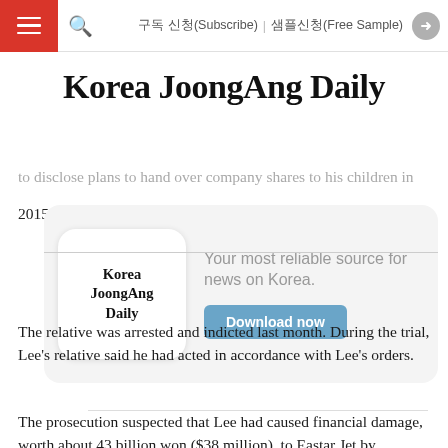≡  🔍  구독 신청(Subscribe)  샘플신청(Free Sample)  ➤
Korea JoongAng Daily
to disclose plans to hand over company shares to his children in 2015.
[Figure (logo): Korea JoongAng Daily app advertisement banner with logo box on left showing 'Korea JoongAng Daily' text, tagline 'Your most reliable source for news on Korea.' and a blue 'Download now' button.]
The relative was arrested and indicted last month. During the trial, Lee's relative said he had acted in accordance with Lee's orders.
The prosecution suspected that Lee had caused financial damage, worth about 43 billion won ($38 million), to Eastar Jet by